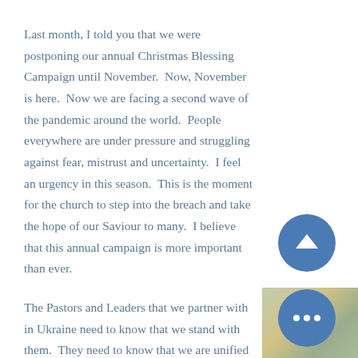Last month, I told you that we were postponing our annual Christmas Blessing Campaign until November. Now, November is here. Now we are facing a second wave of the pandemic around the world. People everywhere are under pressure and struggling against fear, mistrust and uncertainty. I feel an urgency in this season. This is the moment for the church to step into the breach and take the hope of our Saviour to many. I believe that this annual campaign is more important than ever.
The Pastors and Leaders that we partner with in Ukraine need to know that we stand with them. They need to know that we are unified with them as they work relentlessly to reach desperate people today. God is asking us, out of the multitude of our gifts, to equip the
[Figure (photo): Partial view of an outdoor nature/landscape photo showing yellowed and green foliage, positioned in the bottom-right corner of the page]